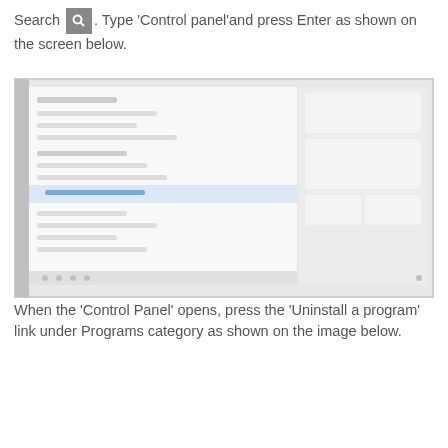Search [icon]. Type 'Control panel'and press Enter as shown on the screen below.
[Figure (screenshot): A screenshot showing a Windows search or Start menu with a search query for 'Control panel', with a split-pane UI showing search results on the left and a content area on the right.]
When the 'Control Panel' opens, press the 'Uninstall a program' link under Programs category as shown on the image below.